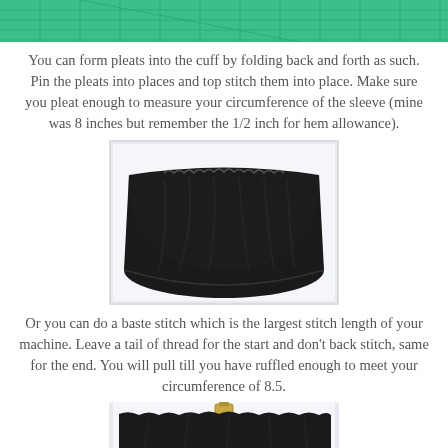[Figure (photo): Top portion of a cutting mat with green grid lines, partially visible at top of page]
You can form pleats into the cuff by folding back and forth as such. Pin the pleats into places and top stitch them into place. Make sure you pleat enough to measure your circumference of the sleeve (mine was 8 inches but remember the 1/2 inch for hem allowance).
[Figure (photo): A gathered/ruffled black fabric sleeve cuff laid flat on a white background, showing pleated top edge]
Or you can do a baste stitch which is the largest stitch length of your machine. Leave a tail of thread for the start and don't back stitch, same for the end. You will pull till you have ruffled enough to meet your circumference of 8.5.
[Figure (photo): Bottom portion showing black gathered fabric cuff, partially cut off at page bottom]